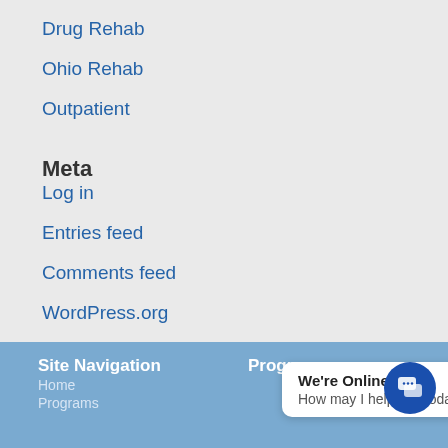Drug Rehab
Ohio Rehab
Outpatient
Meta
Log in
Entries feed
Comments feed
WordPress.org
Site Navigation
Programs
Home
Programs
We're Online! How may I help you today?